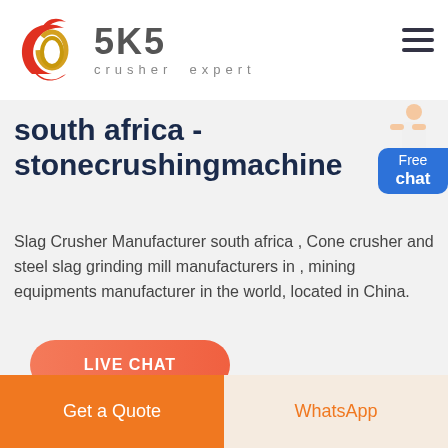[Figure (logo): SKS crusher expert logo with red swirl emblem and grey SKS text]
south africa - stonecrushingmachine
Slag Crusher Manufacturer south africa , Cone crusher and steel slag grinding mill manufacturers in , mining equipments manufacturer in the world, located in China.
[Figure (other): Free chat button with person illustration]
[Figure (photo): Industrial facility interior showing ceiling structure with metal beams and lighting]
Get a Quote   WhatsApp